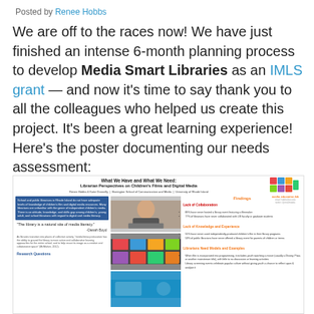Posted by Renee Hobbs
We are off to the races now! We have just finished an intense 6-month planning process to develop Media Smart Libraries as an IMLS grant — and now it's time to say thank you to all the colleagues who helped us create this project. It's been a great learning experience! Here's the poster documenting our needs assessment:
[Figure (other): Poster titled 'What We Have and What We Need: Librarian Perspectives on Children's Films and Digital Media' by Renee Hobbs & Katie Donnelly, Harrington School of Communication and Media, University of Rhode Island. Contains findings about librarian collaboration, knowledge and experience, and models/examples. Includes media education lab logo, quote from Danah Boyd, blue text box about school and public librarians in Rhode Island, research questions section, and three photographic images.]